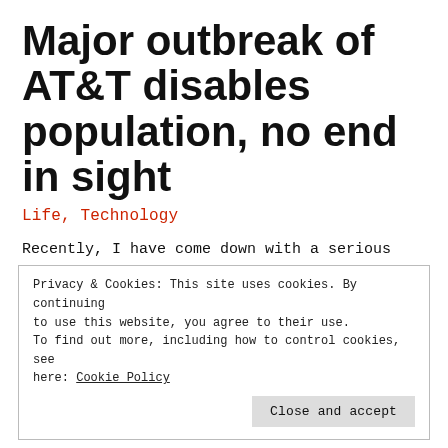Major outbreak of AT&T disables population, no end in sight
Life, Technology
Recently, I have come down with a serious case of AT&T. The last time this happened
Privacy & Cookies: This site uses cookies. By continuing to use this website, you agree to their use. To find out more, including how to control cookies, see here: Cookie Policy
Close and accept